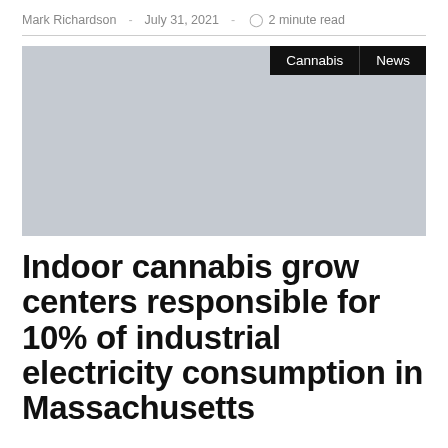Mark Richardson · July 31, 2021 · 2 minute read
[Figure (photo): Placeholder image with light grey background, tags 'Cannabis' and 'News' in top right corner]
Indoor cannabis grow centers responsible for 10% of industrial electricity consumption in Massachusetts